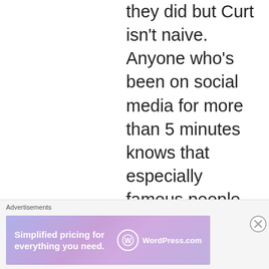they did but Curt isn't naive. Anyone who's been on social media for more than 5 minutes knows that especially famous people get trolled. He knew he would get trolled and then he ran with it to D&C to wave his junk around and show everyone how connected he is. Total ego
Advertisements
[Figure (screenshot): WordPress.com advertisement banner reading 'Simplified pricing for everything you need.' with WordPress.com logo]